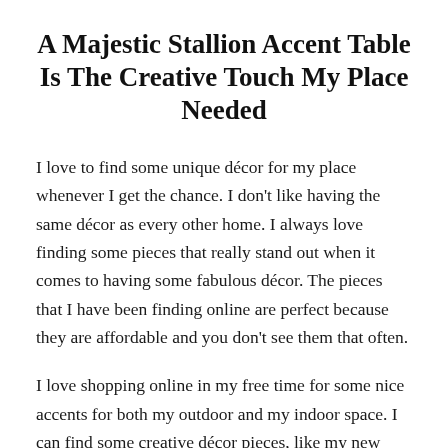A Majestic Stallion Accent Table Is The Creative Touch My Place Needed
I love to find some unique décor for my place whenever I get the chance. I don't like having the same décor as every other home. I always love finding some pieces that really stand out when it comes to having some fabulous décor. The pieces that I have been finding online are perfect because they are affordable and you don't see them that often.
I love shopping online in my free time for some nice accents for both my outdoor and my indoor space. I can find some creative décor pieces, like my new accent